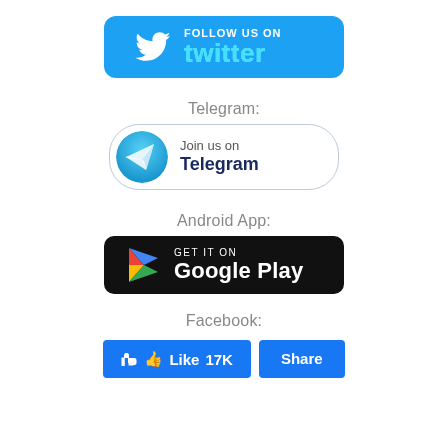[Figure (logo): Twitter Follow Us On button with bird logo and text 'FOLLOW US ON twitter' on blue background]
Telegram:
[Figure (logo): Telegram 'Join us on Telegram' button with paper plane icon in blue circle on white background with border]
Android App:
[Figure (logo): Google Play 'GET IT ON Google Play' badge with colorful play icon on black background]
Facebook:
[Figure (infographic): Facebook Like (17K) and Share buttons in blue]